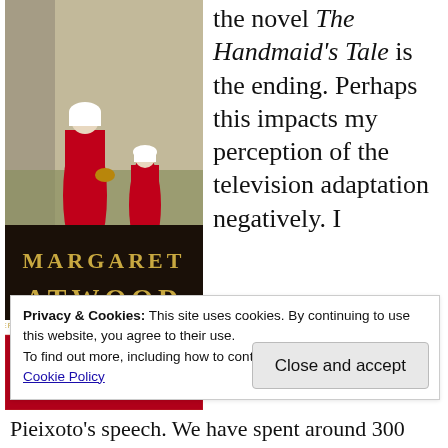[Figure (photo): Book cover of 'The Handmaid's Tale' by Margaret Atwood, showing figures in red robes and white bonnets walking along a wall, with author name in large gold letters on a dark band, and the book title in white on a red background at the bottom.]
the novel The Handmaid's Tale is the ending. Perhaps this impacts my perception of the television adaptation negatively. I
Privacy & Cookies: This site uses cookies. By continuing to use this website, you agree to their use.
To find out more, including how to control cookies, see here:
Cookie Policy
Close and accept
Pieixoto's speech. We have spent around 300